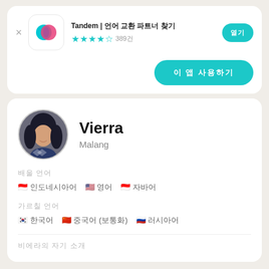[Figure (logo): Tandem app icon with teal and pink overlapping speech bubble logos on white rounded square background]
Tandem | 언어 교환 파트너 찾기
★★★★☆ 389건
열기 (teal install button top right)
이 앱 사용하기 (teal large button)
[Figure (photo): Profile photo of Vierra, a young woman with long dark hair smiling, circular crop]
Vierra
Malang
배울 언어
🇮🇩 인도네시아어  🇺🇸 영어  🇮🇩 자바어
가르칠 언어
🇰🇷 한국어  🇨🇳 중국어 (보통화)  🇷🇺 러시아어
비에라의 자기 소개